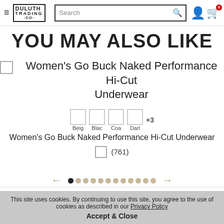Duluth Trading Co — Search — Cart (0)
YOU MAY ALSO LIKE
Women's Go Buck Naked Performance Hi-Cut Underwear
Beig  Blac  Coa  Darl  +3
Women's Go Buck Naked Performance Hi-Cut Underwear
(761)
[Figure (other): Carousel navigation dots with left and right arrow buttons. 12 dots total, first dot is filled black (active), rest are tan/beige.]
HOME › WOMEN › UNDERWEAR › UNDIES › BRIEFS ›
This site uses cookies. By continuing to use this site, you agree to the use of cookies as described in our Privacy Policy
Accept & Close